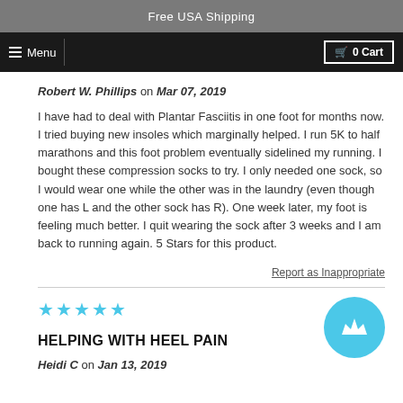Free USA Shipping
Menu  0 Cart
Robert W. Phillips on Mar 07, 2019
I have had to deal with Plantar Fasciitis in one foot for months now. I tried buying new insoles which marginally helped. I run 5K to half marathons and this foot problem eventually sidelined my running. I bought these compression socks to try. I only needed one sock, so I would wear one while the other was in the laundry (even though one has L and the other sock has R). One week later, my foot is feeling much better. I quit wearing the sock after 3 weeks and I am back to running again. 5 Stars for this product.
Report as Inappropriate
★★★★★
HELPING WITH HEEL PAIN
Heidi C on Jan 13, 2019